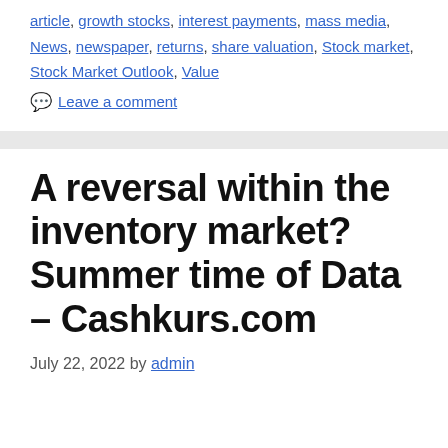article, growth stocks, interest payments, mass media, News, newspaper, returns, share valuation, Stock market, Stock Market Outlook, Value
Leave a comment
A reversal within the inventory market? Summer time of Data – Cashkurs.com
July 22, 2022 by admin